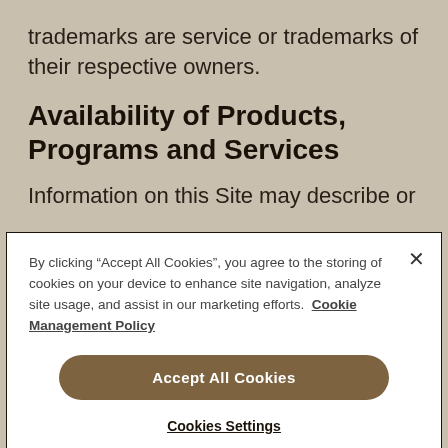trademarks are service or trademarks of their respective owners.
Availability of Products, Programs and Services
Information on this Site may describe or
By clicking “Accept All Cookies”, you agree to the storing of cookies on your device to enhance site navigation, analyze site usage, and assist in our marketing efforts. Cookie Management Policy
Accept All Cookies
Cookies Settings